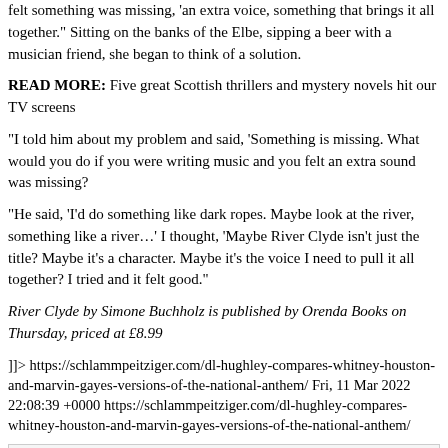felt something was missing, ‘an extra voice, something that brings it all together.” Sitting on the banks of the Elbe, sipping a beer with a musician friend, she began to think of a solution.
READ MORE: Five great Scottish thrillers and mystery novels hit our TV screens
“I told him about my problem and said, ‘Something is missing. What would you do if you were writing music and you felt an extra sound was missing?
“He said, ‘I’d do something like dark ropes. Maybe look at the river, something like a river…’ I thought, ‘Maybe River Clyde isn’t just the title? Maybe it’s a character. Maybe it’s the voice I need to pull it all together? I tried and it felt good.”
River Clyde by Simone Buchholz is published by Orenda Books on Thursday, priced at £8.99
]]> https://schlammpeitziger.com/dl-hughley-compares-whitney-houston-and-marvin-gayes-versions-of-the-national-anthem/ Fri, 11 Mar 2022 22:08:39 +0000 https://schlammpeitziger.com/dl-hughley-compares-whitney-houston-and-marvin-gayes-versions-of-the-national-anthem/
[Figure (other): Broken image placeholder]